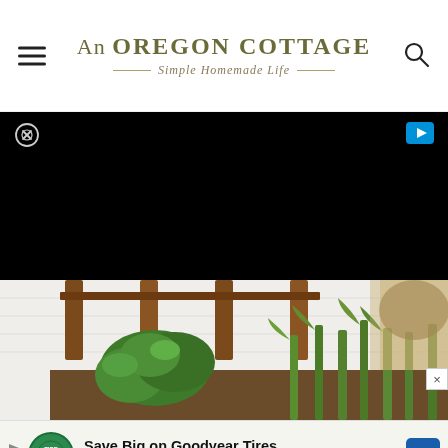An OREGON COTTAGE — Simple Homemade Life —
[Figure (screenshot): Black video advertisement banner with close (X in circle) button top-left and play button top-right]
[Figure (photo): Garden photo showing wooden fence posts against white siding with green plants including leafy shrubs and tall iris-like plants in a garden bed]
[Figure (screenshot): Advertisement banner: Save Big on Goodyear Tires - Virginia Tire & Auto of Ashburn, with green Tire Auto logo and blue navigation arrow]